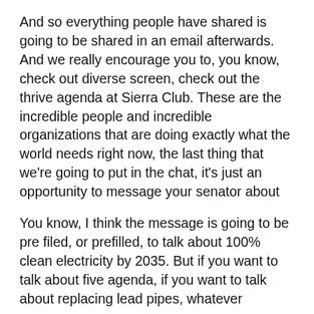And so everything people have shared is going to be shared in an email afterwards. And we really encourage you to, you know, check out diverse screen, check out the thrive agenda at Sierra Club. These are the incredible people and incredible organizations that are doing exactly what the world needs right now, the last thing that we're going to put in the chat, it's just an opportunity to message your senator about
You know, I think the message is going to be pre filed, or prefilled, to talk about 100% clean electricity by 2035. But if you want to talk about five agenda, if you want to talk about replacing lead pipes, whatever
you want your senator to know about the American jobs plan, and how important it is to pass and how it needs to be stronger. Still, just put that in the